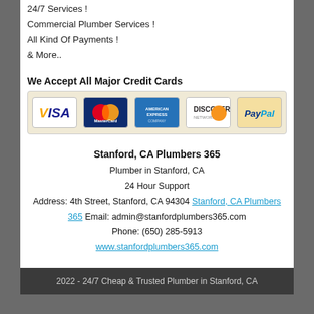24/7 Services !
Commercial Plumber Services !
All Kind Of Payments !
& More..
We Accept All Major Credit Cards
[Figure (illustration): Payment logos: Visa, MasterCard, American Express, Discover, PayPal on a beige background]
Stanford, CA Plumbers 365
Plumber in Stanford, CA
24 Hour Support
Address: 4th Street, Stanford, CA 94304 Stanford, CA Plumbers 365 Email: admin@stanfordplumbers365.com
Phone: (650) 285-5913
www.stanfordplumbers365.com
2022 - 24/7 Cheap & Trusted Plumber in Stanford, CA